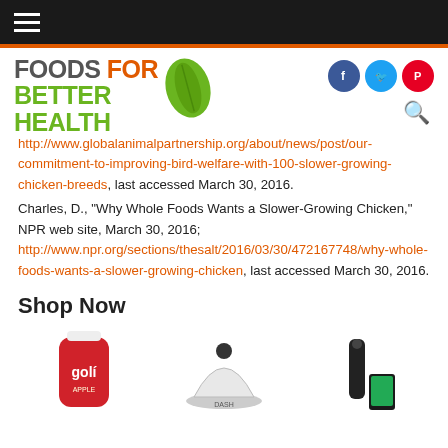Foods For Better Health - navigation bar
[Figure (logo): Foods For Better Health logo with green leaf]
http://www.globalanimalpartnership.org/about/news/post/our-commitment-to-improving-bird-welfare-with-100-slower-growing-chicken-breeds, last accessed March 30, 2016.
Charles, D., "Why Whole Foods Wants a Slower-Growing Chicken," NPR web site, March 30, 2016; http://www.npr.org/sections/thesalt/2016/03/30/472167748/why-whole-foods-wants-a-slower-growing-chicken, last accessed March 30, 2016.
Shop Now
[Figure (photo): Three product photos: Goli gummy bottle, Dash appliance, and a kitchen device with smartphone]